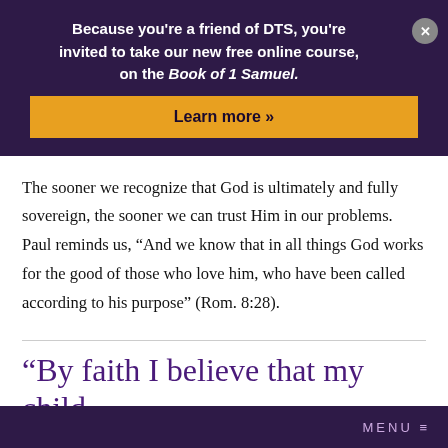Because you're a friend of DTS, you're invited to take our new free online course, on the Book of 1 Samuel.
Learn more »
The sooner we recognize that God is ultimately and fully sovereign, the sooner we can trust Him in our problems. Paul reminds us, “And we know that in all things God works for the good of those who love him, who have been called according to his purpose” (Rom. 8:28).
“By faith I believe that my child
MENU